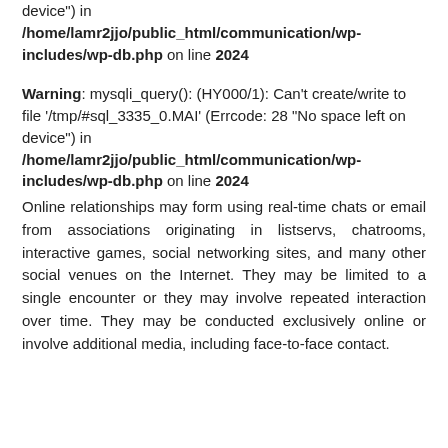device") in /home/lamr2jjo/public_html/communication/wp-includes/wp-db.php on line 2024
Warning: mysqli_query(): (HY000/1): Can't create/write to file '/tmp/#sql_3335_0.MAI' (Errcode: 28 "No space left on device") in /home/lamr2jjo/public_html/communication/wp-includes/wp-db.php on line 2024
Online relationships may form using real-time chats or email from associations originating in listservs, chatrooms, interactive games, social networking sites, and many other social venues on the Internet. They may be limited to a single encounter or they may involve repeated interaction over time. They may be conducted exclusively online or involve additional media, including face-to-face contact.